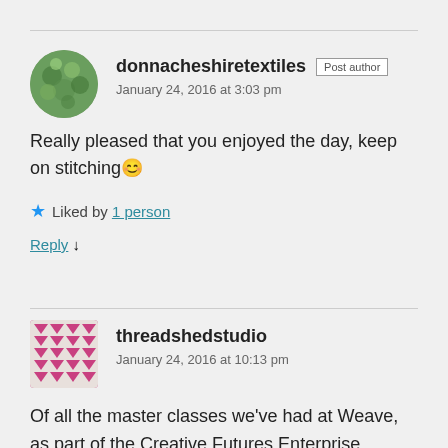donnacheshiretextiles  Post author
January 24, 2016 at 3:03 pm
Really pleased that you enjoyed the day, keep on stitching 😊
★ Liked by 1 person
Reply ↓
threadshedstudio
January 24, 2016 at 10:13 pm
Of all the master classes we've had at Weave, as part of the Creative Futures Enterprise Programme, the skills I learned from